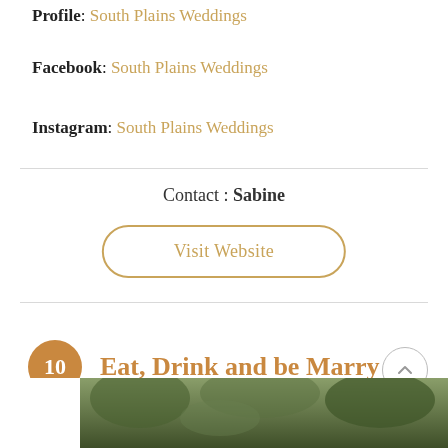Profile: South Plains Weddings
Facebook: South Plains Weddings
Instagram: South Plains Weddings
Contact : Sabine
Visit Website
10  Eat, Drink and be Marry
[Figure (photo): Outdoor wedding venue with green foliage and trees visible at the bottom of the page]